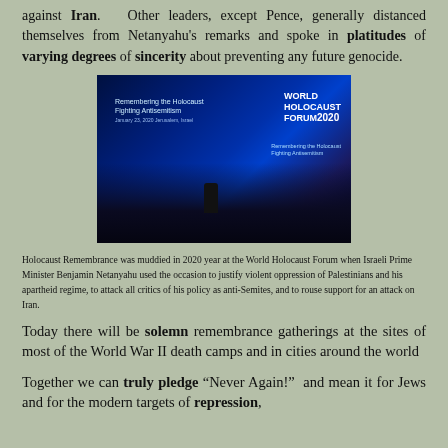against Iran. Other leaders, except Pence, generally distanced themselves from Netanyahu's remarks and spoke in platitudes of varying degrees of sincerity about preventing any future genocide.
[Figure (photo): World Holocaust Forum 2020 event photo showing audience seated in a dark hall with blue stage lighting, speaker at podium, text 'Remembering the Holocaust Fighting Antisemitism' on screen and 'WORLD HOLOCAUST FORUM 2020' logo on the right side.]
Holocaust Remembrance was muddied in 2020 year at the World Holocaust Forum when Israeli Prime Minister Benjamin Netanyahu used the occasion to justify violent oppression of Palestinians and his apartheid regime, to attack all critics of his policy as anti-Semites, and to rouse support for an attack on Iran.
Today there will be solemn remembrance gatherings at the sites of most of the World War II death camps and in cities around the world
Together we can truly pledge “Never Again!” and mean it for Jews and for the modern targets of repression,